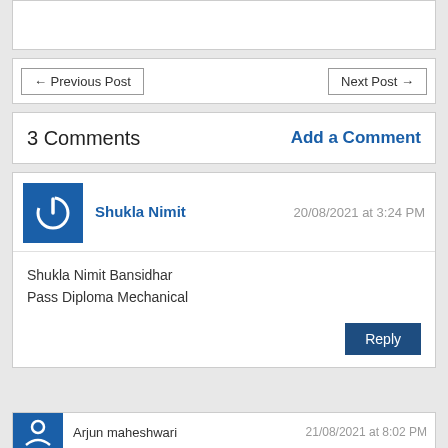← Previous Post    Next Post →
3 Comments    Add a Comment
Shukla Nimit
20/08/2021 at 3:24 PM
Shukla Nimit Bansidhar
Pass Diploma Mechanical
Arjun maheshwari
21/08/2021 at 8:02 PM